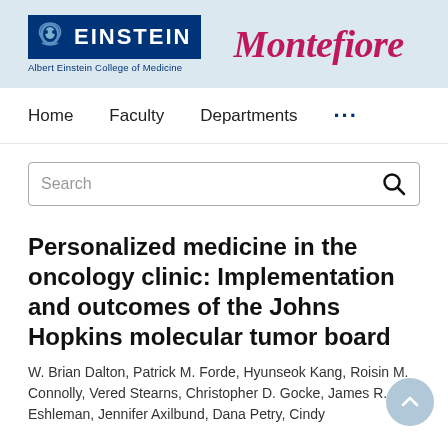[Figure (logo): Albert Einstein College of Medicine and Montefiore logos on a light blue banner]
Home   Faculty   Departments   ...
[Figure (screenshot): Search bar with magnifying glass icon]
Personalized medicine in the oncology clinic: Implementation and outcomes of the Johns Hopkins molecular tumor board
W. Brian Dalton, Patrick M. Forde, Hyunseok Kang, Roisin M. Connolly, Vered Stearns, Christopher D. Gocke, James R. Eshleman, Jennifer Axilbund, Dana Petry, Cindy